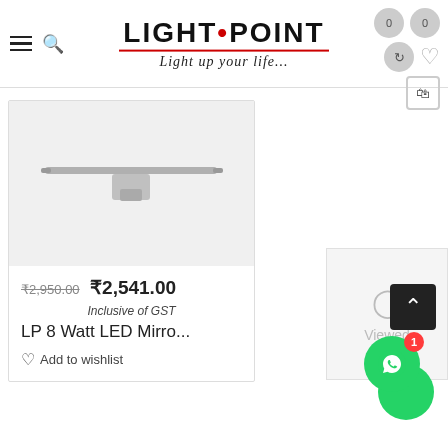[Figure (logo): Light Point logo with tagline 'Light up your life...' and red underline]
[Figure (photo): LP 8 Watt LED Mirror light product image, slim bar light on bracket, silver/chrome finish]
₹2,950.00 ₹2,541.00
Inclusive of GST
LP 8 Watt LED Mirro...
Add to wishlist
[Figure (other): Viewed panel with clock icon]
[Figure (other): Scroll to top button, dark background with up arrow]
[Figure (other): WhatsApp chat button, green circle with WhatsApp icon and red badge showing 1]